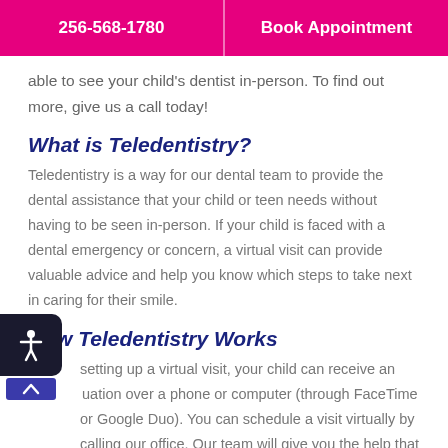256-568-1780  |  Book Appointment
able to see your child's dentist in-person. To find out more, give us a call today!
What is Teledentistry?
Teledentistry is a way for our dental team to provide the dental assistance that your child or teen needs without having to be seen in-person. If your child is faced with a dental emergency or concern, a virtual visit can provide valuable advice and help you know which steps to take next in caring for their smile.
How Teledentistry Works
By setting up a virtual visit, your child can receive an evaluation over a phone or computer (through FaceTime or Google Duo). You can schedule a visit virtually by calling our office. Our team will give you the help that you need and